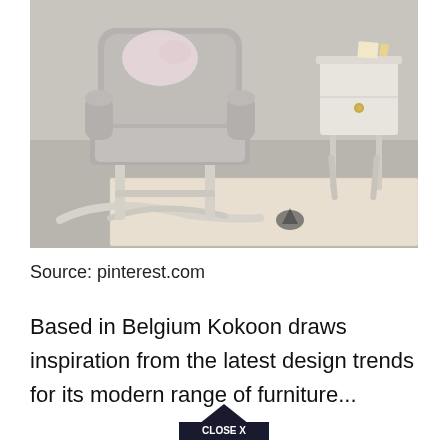[Figure (photo): A grey upholstered rocking chair with white wooden rockers and legs, placed next to a small white mid-century modern side table with a single drawer and brass knob. A textured cream rug with a small dark motif is on the concrete floor beneath them.]
Source: pinterest.com
Based in Belgium Kokoon draws inspiration from the latest design trends for its modern range of furniture...